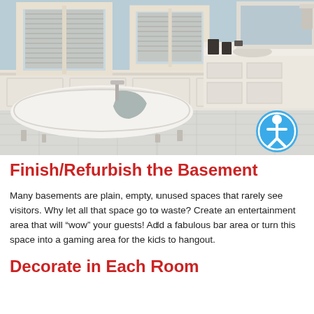[Figure (photo): Elegant bathroom interior with light blue walls, white wainscoting, clawfoot bathtub on the left with towels draped over it, white cabinetry vanity on the right with a sink and dark accessories, marble tile floor, two windows with white blinds, a large mirror, and a wall sconce on the right.]
Finish/Refurbish the Basement
Many basements are plain, empty, unused spaces that rarely see visitors. Why let all that space go to waste? Create an entertainment area that will “wow” your guests! Add a fabulous bar area or turn this space into a gaming area for the kids to hangout.
Decorate in Each Room